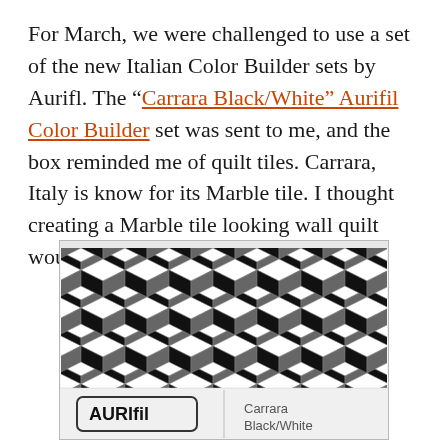For March, we were challenged to use a set of the new Italian Color Builder sets by Aurifl. The "Carrara Black/White" Aurifil Color Builder set was sent to me, and the box reminded me of quilt tiles. Carrara, Italy is know for its Marble tile. I thought creating a Marble tile looking wall quilt would be a tribute to Carrara.
[Figure (photo): Photo of an Aurifil thread box with a black and white geometric cube/tile pattern on the front and side. The bottom shows the Aurifil logo and the text 'Carrara Black/White'.]